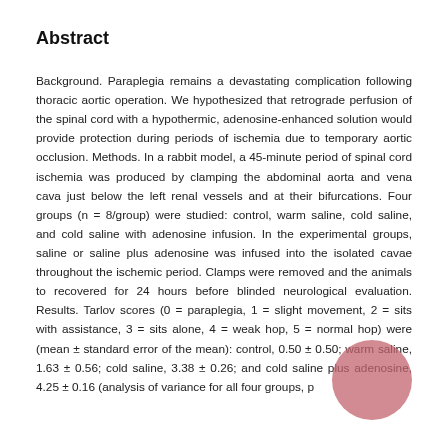Abstract
Background. Paraplegia remains a devastating complication following thoracic aortic operation. We hypothesized that retrograde perfusion of the spinal cord with a hypothermic, adenosine-enhanced solution would provide protection during periods of ischemia due to temporary aortic occlusion. Methods. In a rabbit model, a 45-minute period of spinal cord ischemia was produced by clamping the abdominal aorta and vena cava just below the left renal vessels and at their bifurcations. Four groups (n = 8/group) were studied: control, warm saline, cold saline, and cold saline with adenosine infusion. In the experimental groups, saline or saline plus adenosine was infused into the isolated cavae throughout the ischemic period. Clamps were removed and the animals to recovered for 24 hours before blinded neurological evaluation. Results. Tarlov scores (0 = paraplegia, 1 = slight movement, 2 = sits with assistance, 3 = sits alone, 4 = weak hop, 5 = normal hop) were (mean ± standard error of the mean): control, 0.50 ± 0.50; warm saline, 1.63 ± 0.56; cold saline, 3.38 ± 0.26; and cold saline plus adenosine, 4.25 ± 0.16 (analysis of variance for all four groups, p